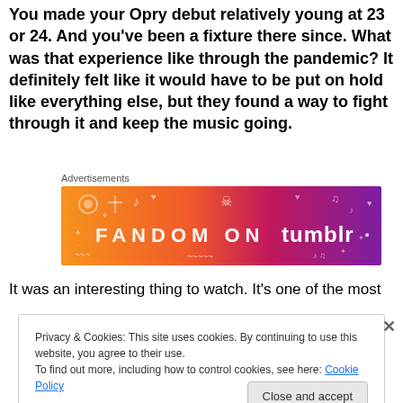You made your Opry debut relatively young at 23 or 24. And you've been a fixture there since. What was that experience like through the pandemic? It definitely felt like it would have to be put on hold like everything else, but they found a way to fight through it and keep the music going.
Advertisements
[Figure (illustration): Fandom on Tumblr advertisement banner with orange to purple gradient and musical/festive doodles]
It was an interesting thing to watch. It's one of the most
Privacy & Cookies: This site uses cookies. By continuing to use this website, you agree to their use. To find out more, including how to control cookies, see here: Cookie Policy
Close and accept